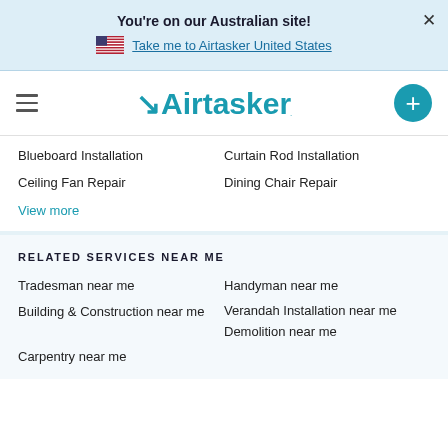You're on our Australian site!
Take me to Airtasker United States
[Figure (logo): Airtasker logo with hamburger menu and plus button]
Blueboard Installation
Curtain Rod Installation
Ceiling Fan Repair
Dining Chair Repair
View more
RELATED SERVICES NEAR ME
Tradesman near me
Handyman near me
Building & Construction near me
Verandah Installation near me
Carpentry near me
Demolition near me